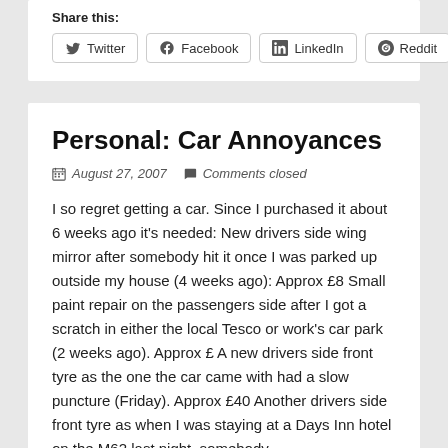Share this:
Twitter
Facebook
LinkedIn
Reddit
Personal: Car Annoyances
August 27, 2007   Comments closed
I so regret getting a car. Since I purchased it about 6 weeks ago it's needed: New drivers side wing mirror after somebody hit it once I was parked up outside my house (4 weeks ago): Approx £8 Small paint repair on the passengers side after I got a scratch in either the local Tesco or work's car park (2 weeks ago). Approx £ A new drivers side front tyre as the one the car came with had a slow puncture (Friday). Approx £40 Another drivers side front tyre as when I was staying at a Days Inn hotel on the M62 last night, somebody